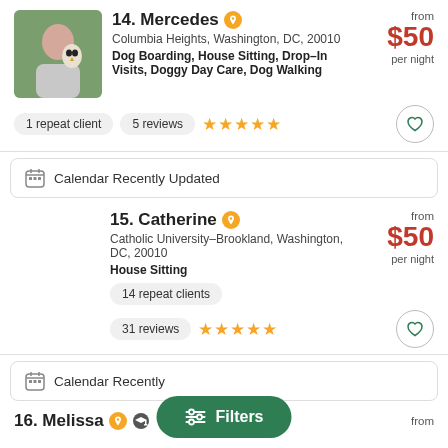14. Mercedes — Columbia Heights, Washington, DC, 20010 — Dog Boarding, House Sitting, Drop-In Visits, Doggy Day Care, Dog Walking — from $50 per night — 1 repeat client — 5 reviews — 5 stars
Calendar Recently Updated
15. Catherine — Catholic University-Brookland, Washington, DC, 20010 — House Sitting — from $50 per night — 14 repeat clients — 31 reviews — 5 stars
Calendar Recently Updated
16. Melissa — from